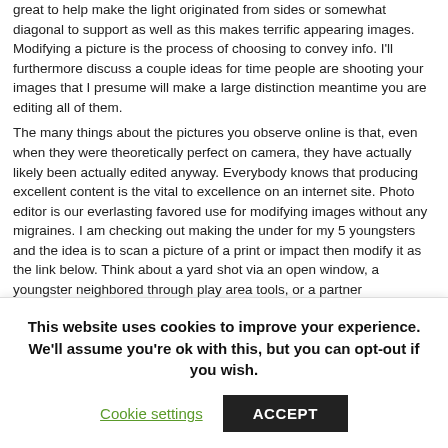great to help make the light originated from sides or somewhat diagonal to support as well as this makes terrific appearing images. Modifying a picture is the process of choosing to convey info. I'll furthermore discuss a couple ideas for time people are shooting your images that I presume will make a large distinction meantime you are editing all of them.
The many things about the pictures you observe online is that, even when they were theoretically perfect on camera, they have actually likely been actually edited anyway. Everybody knows that producing excellent content is the vital to excellence on an internet site. Photo editor is our everlasting favored use for modifying images without any migraines. I am checking out making the under for my 5 youngsters and the idea is to scan a picture of a print or impact then modify it as the link below. Think about a yard shot via an open window, a youngster neighbored through play area tools, or a partner
This website uses cookies to improve your experience. We'll assume you're ok with this, but you can opt-out if you wish.
Cookie settings
ACCEPT